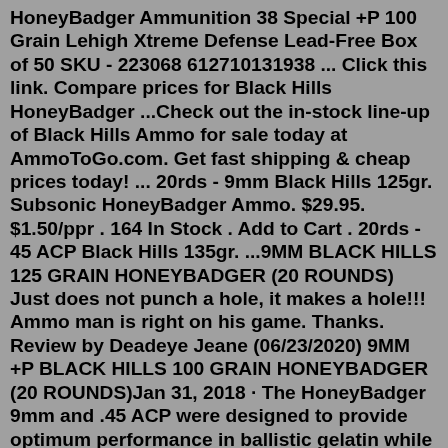HoneyBadger Ammunition 38 Special +P 100 Grain Lehigh Xtreme Defense Lead-Free Box of 50 SKU - 223068 612710131938 ... Click this link. Compare prices for Black Hills HoneyBadger ...Check out the in-stock line-up of Black Hills Ammo for sale today at AmmoToGo.com. Get fast shipping & cheap prices today! ... 20rds - 9mm Black Hills 125gr. Subsonic HoneyBadger Ammo. $29.95. $1.50/ppr . 164 In Stock . Add to Cart . 20rds - 45 ACP Black Hills 135gr. ...9MM BLACK HILLS 125 GRAIN HONEYBADGER (20 ROUNDS) Just does not punch a hole, it makes a hole!!! Ammo man is right on his game. Thanks. Review by Deadeye Jeane (06/23/2020) 9MM +P BLACK HILLS 100 GRAIN HONEYBADGER (20 ROUNDS)Jan 31, 2018 · The HoneyBadger 9mm and .45 ACP were designed to provide optimum performance in ballistic gelatin while avoiding over-penetration. See them at your dealer, or for more information contact Black Hills Ammunition; Tel.: (605) 348-5150; Web: www.black-hills.com. Certainly no one advocates for Black Hill